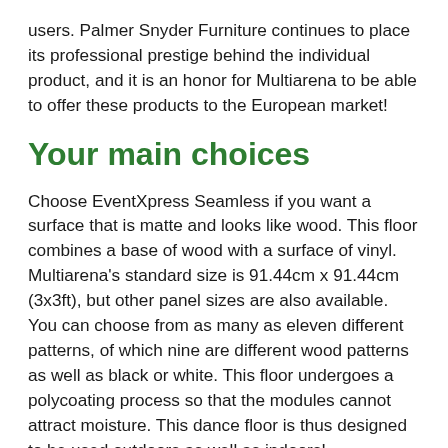users. Palmer Snyder Furniture continues to place its professional prestige behind the individual product, and it is an honor for Multiarena to be able to offer these products to the European market!
Your main choices
Choose EventXpress Seamless if you want a surface that is matte and looks like wood. This floor combines a base of wood with a surface of vinyl. Multiarena's standard size is 91.44cm x 91.44cm (3x3ft), but other panel sizes are also available. You can choose from as many as eleven different patterns, of which nine are different wood patterns as well as black or white. This floor undergoes a polycoating process so that the modules cannot attract moisture. This dance floor is thus designed to be used outdoors as well as indoors!